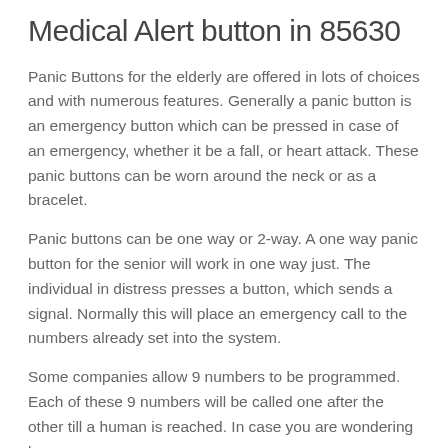Medical Alert button in 85630
Panic Buttons for the elderly are offered in lots of choices and with numerous features. Generally a panic button is an emergency button which can be pressed in case of an emergency, whether it be a fall, or heart attack. These panic buttons can be worn around the neck or as a bracelet.
Panic buttons can be one way or 2-way. A one way panic button for the senior will work in one way just. The individual in distress presses a button, which sends a signal. Normally this will place an emergency call to the numbers already set into the system.
Some companies allow 9 numbers to be programmed. Each of these 9 numbers will be called one after the other till a human is reached. In case you are wondering how a